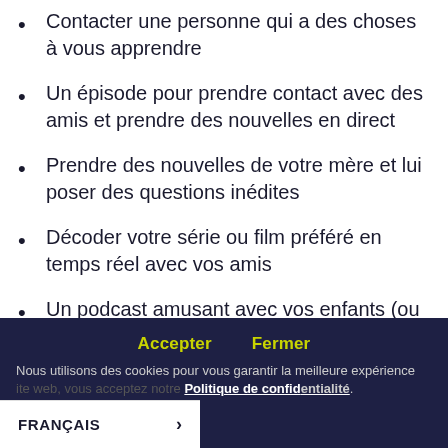Contacter une personne qui a des choses à vous apprendre
Un épisode pour prendre contact avec des amis et prendre des nouvelles en direct
Prendre des nouvelles de votre mère et lui poser des questions inédites
Décoder votre série ou film préféré en temps réel avec vos amis
Un podcast amusant avec vos enfants (ou nièces et neveux!)
Accepter   Fermer
Nous utilisons des cookies pour vous garantir la meilleure expérience ... ite web, vous acceptez notre Politique de confidentialité.
FRANÇAIS >